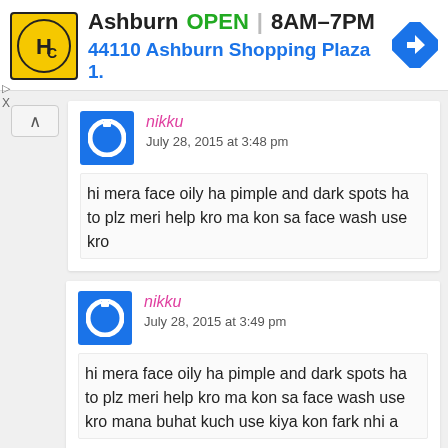[Figure (screenshot): Ad banner for HC (Honest Chops or similar) showing Ashburn location OPEN 8AM-7PM with address 44110 Ashburn Shopping Plaza 1., navigation diamond icon, and ad controls (arrow up, X)]
nikku
July 28, 2015 at 3:48 pm
hi mera face oily ha pimple and dark spots ha to plz meri help kro ma kon sa face wash use kro
nikku
July 28, 2015 at 3:49 pm
hi mera face oily ha pimple and dark spots ha to plz meri help kro ma kon sa face wash use kro mana buhat kuch use kiya kon fark nhi a